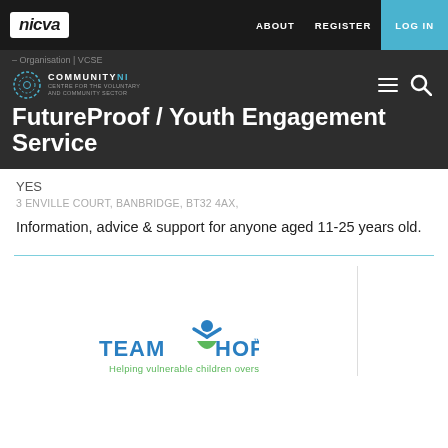nicva | ABOUT REGISTER LOG IN
– Organisation | VCSE
[Figure (logo): CommunityNI logo — circular dotted ring icon with COMMUNITY NI text]
FutureProof / Youth Engagement Service
YES
3 ENVILLE COURT, BANBRIDGE, BT32 4AX,
Information, advice & support for anyone aged 11-25 years old.
[Figure (logo): Team Hope logo — blue and green figure icon with TEAM HOPE text and tagline 'Helping vulnerable children overseas']